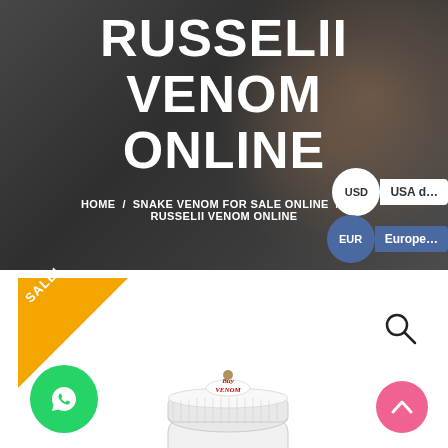RUSSELII VENOM ONLINE
HOME / SNAKE VENOM FOR SALE ONLINE / BUY RUSSELII VENOM ONLINE
[Figure (screenshot): Currency selector showing USD (USA dollar) and EUR (European) options as circular badges with labels]
[Figure (other): SALE! triangle badge in orange/yellow in top-left corner of product area]
[Figure (other): Search magnifying glass icon]
[Figure (photo): White pill/supplement bottle with 'Buy Venom' label on cap]
[Figure (other): Green WhatsApp floating chat button]
[Figure (other): Pink scroll-to-top button with upward chevron]